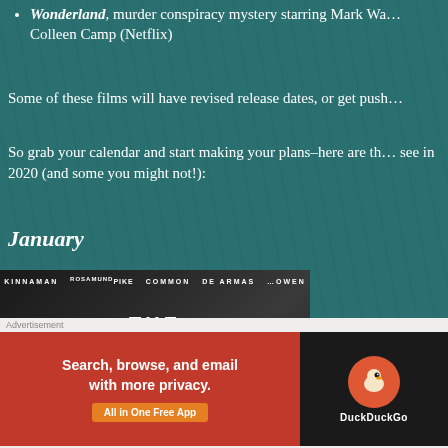Wonderland, murder conspiracy mystery starring Mark Wa… Colleen Camp (Netflix)
Some of these films will have revised release dates, or get push…
So grab your calendar and start making your plans–here are th… see in 2020 (and some you might not!):
January
[Figure (photo): Movie poster for 'The Informer' featuring cast names Kinnaman, Pike, Common, De Armas, Owen at top, large title text 'THE INFORMER', tagline 'CHOOSE YOUR ENEMIES WISELY', with dark dramatic imagery and red splash]
[Figure (other): DuckDuckGo advertisement banner: left red section with text 'Search, browse, and email with more privacy.' and 'All in One Free App' button; right black section with DuckDuckGo duck logo and brand name]